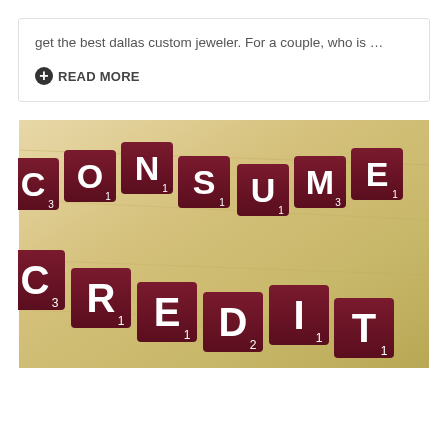get the best dallas custom jeweler. For a couple, who is …
READ MORE
[Figure (photo): Scrabble tiles spelling out CONSUMER CREDIT on a wooden surface. Two rows of dark red/maroon Scrabble letter tiles arranged diagonally, showing the letters C-O-N-S-U-M-E on top row and C-R-E-D-I-T on bottom row, photographed from above at an angle.]